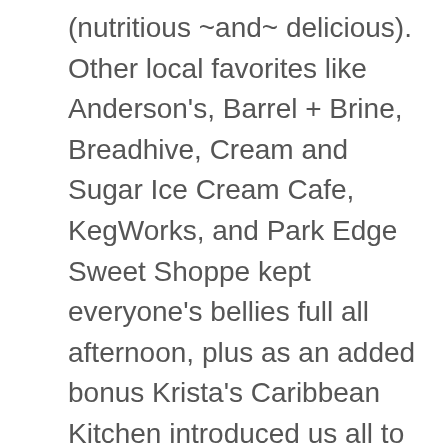(nutritious ~and~ delicious). Other local favorites like Anderson's, Barrel + Brine, Breadhive, Cream and Sugar Ice Cream Cafe, KegWorks, and Park Edge Sweet Shoppe kept everyone's bellies full all afternoon, plus as an added bonus Krista's Caribbean Kitchen introduced us all to MoBay Jamaican style Bloodies and now our lives will never be the same. In between sips and bites there were plenty of things to entertain attendees, including a photo booth station (check out aaaaaall of the photos here), Yelp interactive game booth, oohing and